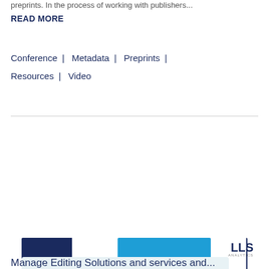preprints. In the process of working with publishers...
READ MORE
Conference  |   Metadata  |   Preprints  |   Resources  |   Video
[Figure (screenshot): Cookie consent overlay dialog on a website with dark blue and light blue banner, showing text about cookies, Privacy Policy link, and Accept/Deny buttons]
This website stores data such as cookies to enable essential site functionality, as well as marketing, personalization, and analytics.
Privacy Policy
Accept
Deny